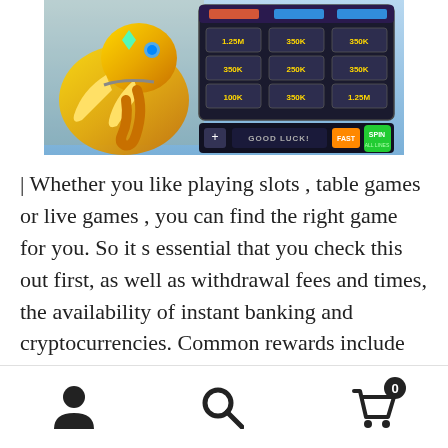[Figure (screenshot): Screenshot of a slot machine game featuring a golden mammoth, a 3x5 reel grid showing values like 1.25M, 350K, 100K, and a SPIN button with GOOD LUCK text]
| Whether you like playing slots , table games or live games , you can find the right game for you. So it s essential that you check this out first, as well as withdrawal fees and times, the availability of instant banking and cryptocurrencies. Common rewards include dedicated account managers, higher limits for deposits and withdrawals, and sometimes even additional bankroll. Software 4ThePlayer, Big Time Gaming, Evolution, Microgaming, Nolimit City, NYX, Playtech, Pragmatic Play,
Navigation footer with user icon, search icon, and cart icon with badge 0